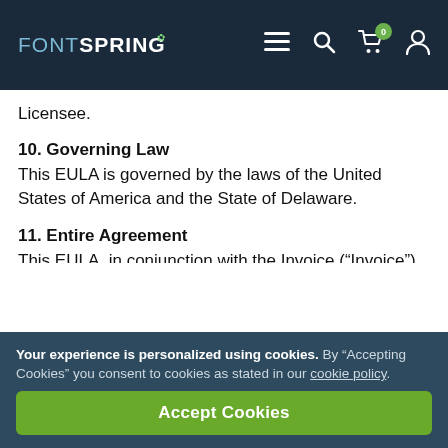FONTSPRING
Licensee.
10. Governing Law
This EULA is governed by the laws of the United States of America and the State of Delaware.
11. Entire Agreement
This EULA, in conjunction with the Invoice (“Invoice”) that accompanies each Font licensed from Fontspring or its distributors, constitutes the entire agreement between Fontspring and Licensee.
Your experience is personalized using cookies. By “Accepting Cookies” you consent to cookies as stated in our cookie policy.
Accept Cookies